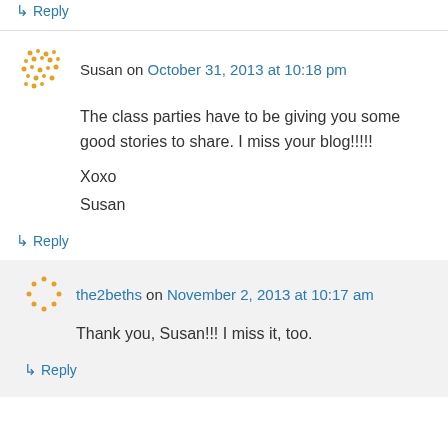↳ Reply
Susan on October 31, 2013 at 10:18 pm
The class parties have to be giving you some good stories to share. I miss your blog!!!!!

Xoxo
Susan
↳ Reply
the2beths on November 2, 2013 at 10:17 am
Thank you, Susan!!! I miss it, too.
↳ Reply